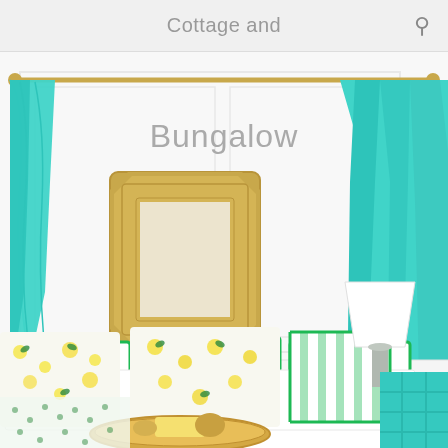Cottage and
[Figure (photo): Interior living room scene with turquoise/teal curtains on a gold rod, a gold ornate mirror on a white paneled wall, a white sofa with colorful floral (lemon print) and green-trimmed cushions, a gold tray with decorative items, a white lamp with silver base, and a turquoise geometric side table.]
Bungalow